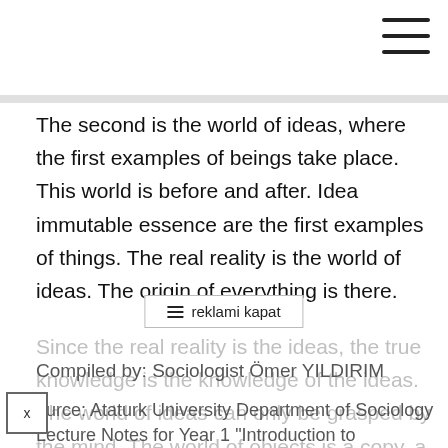The second is the world of ideas, where the first examples of beings take place. This world is before and after. Idea immutable essence are the first examples of things. The real reality is the world of ideas. The origin of everything is there.
Since the real reality is the ideas, the true knowledge is the knowledge of the ideas. The world of ideas can only be grasped by the mind. The world of objects is a copy, a shadow of the world of ideas. According to Plato, ideas do not change, cannot be seen with the eye, cannot be perceived by the senses. But they can be known through reason. Our knowledge of ideas is also innate and is in our minds at birth.
Compiled by: Sociologist Ömer YILDIRIM
Source: Ataturk University Department of Sociology Lecture Notes for Year 1 "Introduction to Philosophy" and Year 2 "Intr...